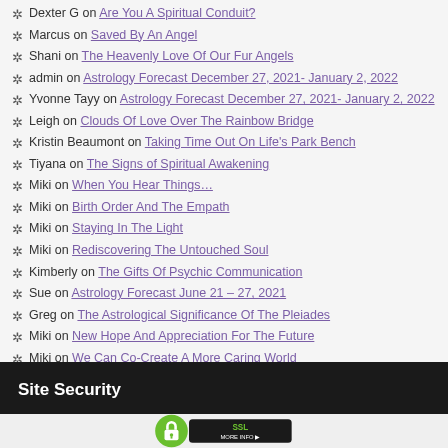Dexter G on Are You A Spiritual Conduit?
Marcus on Saved By An Angel
Shani on The Heavenly Love Of Our Fur Angels
admin on Astrology Forecast December 27, 2021- January 2, 2022
Yvonne Tayy on Astrology Forecast December 27, 2021- January 2, 2022
Leigh on Clouds Of Love Over The Rainbow Bridge
Kristin Beaumont on Taking Time Out On Life's Park Bench
Tiyana on The Signs of Spiritual Awakening
Miki on When You Hear Things…
Miki on Birth Order And The Empath
Miki on Staying In The Light
Miki on Rediscovering The Untouched Soul
Kimberly on The Gifts Of Psychic Communication
Sue on Astrology Forecast June 21 – 27, 2021
Greg on The Astrological Significance Of The Pleiades
Miki on New Hope And Appreciation For The Future
Miki on We Can Co-Create A More Caring World
Site Security
[Figure (logo): SSL site security badge with green padlock icon and 'SSL MORE INFO' text]